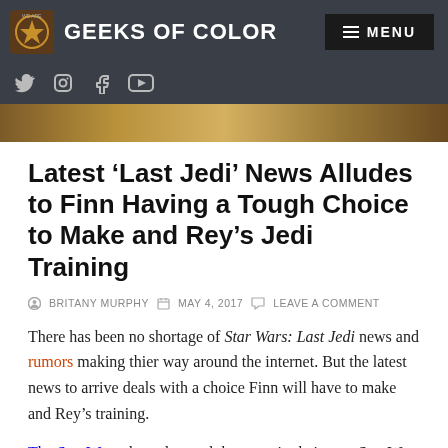GEEKS OF COLOR
Latest ‘Last Jedi’ News Alludes to Finn Having a Tough Choice to Make and Rey’s Jedi Training
BRITANY MURPHY   MAY 4, 2017   LEAVE A COMMENT
There has been no shortage of Star Wars: Last Jedi news and rumors making thier way around the internet. But the latest news to arrive deals with a choice Finn will have to make and Rey’s training.
The Star Wars show dropped the news in their post Star Wars Celebration video.  In a summary of the trailer and their take